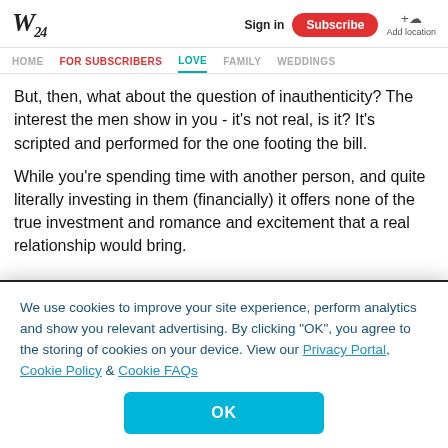W24 | Sign in | Subscribe | Add location
HOME | FOR SUBSCRIBERS | LOVE | FAMILY | WEDDINGS
But, then, what about the question of inauthenticity? The interest the men show in you - it's not real, is it? It's scripted and performed for the one footing the bill.
While you're spending time with another person, and quite literally investing in them (financially) it offers none of the true investment and romance and excitement that a real relationship would bring.
We use cookies to improve your site experience, perform analytics and show you relevant advertising. By clicking "OK", you agree to the storing of cookies on your device. View our Privacy Portal, Cookie Policy & Cookie FAQs